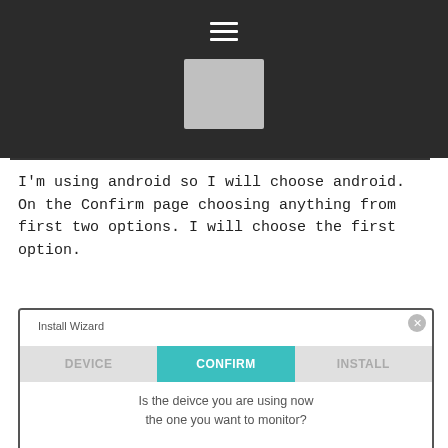[Figure (screenshot): Dark header area with hamburger menu icon (three white horizontal lines) and a gray square placeholder image below it]
I'm using android so I will choose android. On the Confirm page choosing anything from first two options. I will choose the first option.
[Figure (screenshot): Install Wizard dialog showing three tabs: DEVICE, CONFIRM (active/teal), INSTALL. Below tabs: text reading 'Is the deivce you are using now the one you want to monitor?']